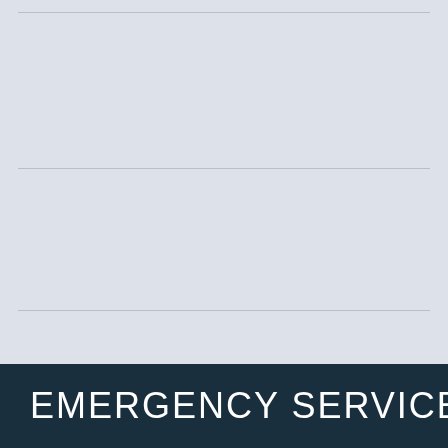[Figure (other): Light blue-grey form area with horizontal divider lines creating row sections for data entry]
EMERGENCY SERVICE